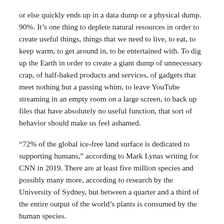or else quickly ends up in a data dump or a physical dump. 90%. It's one thing to deplete natural resources in order to create useful things, things that we need to live, to eat, to keep warm, to get around in, to be entertained with. To dig up the Earth in order to create a giant dump of unnecessary crap, of half-baked products and services, of gadgets that meet nothing but a passing whim, to leave YouTube streaming in an empty room on a large screen, to back up files that have absolutely no useful function, that sort of behavior should make us feel ashamed.
“72% of the global ice-free land surface is dedicated to supporting humans,” according to Mark Lynas writing for CNN in 2019. There are at least five million species and possibly many more, according to research by the University of Sydney, but between a quarter and a third of the entire output of the world’s plants is consumed by the human species.